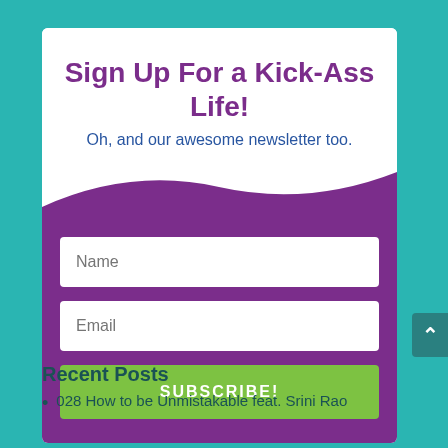Sign Up For a Kick-Ass Life!
Oh, and our awesome newsletter too.
[Figure (other): Newsletter signup form with Name and Email input fields and a green SUBSCRIBE! button, on a purple background with wave decoration]
Recent Posts
028 How to be Unmistakable feat. Srini Rao